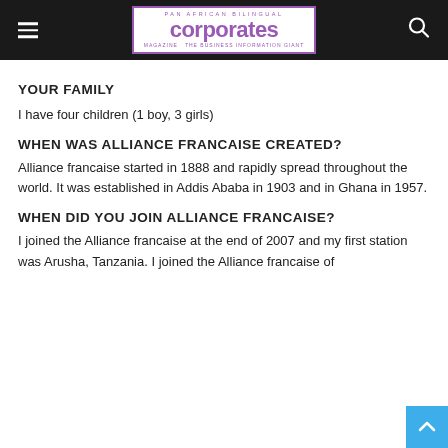Corporates Magazine — Pan African Bilingual
YOUR FAMILY
I have four children (1 boy, 3 girls)
WHEN WAS ALLIANCE FRANCAISE CREATED?
Alliance francaise started in 1888 and rapidly spread throughout the world. It was established in Addis Ababa in 1903 and in Ghana in 1957.
WHEN DID YOU JOIN ALLIANCE FRANCAISE?
I joined the Alliance francaise at the end of 2007 and my first station was Arusha, Tanzania. I joined the Alliance francaise of